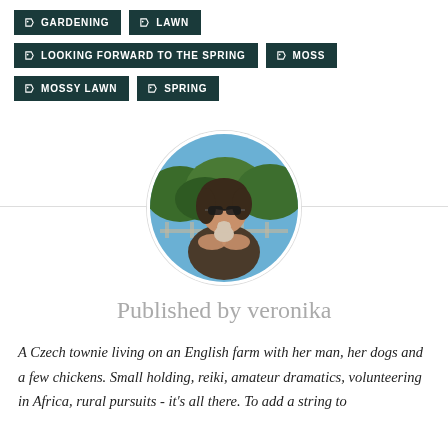GARDENING
LAWN
LOOKING FORWARD TO THE SPRING
MOSS
MOSSY LAWN
SPRING
[Figure (photo): Circular profile photo of Veronika, a woman wearing sunglasses holding a small animal, with trees and blue sky in the background.]
Published by veronika
A Czech townie living on an English farm with her man, her dogs and a few chickens. Small holding, reiki, amateur dramatics, volunteering in Africa, rural pursuits - it's all there. To add a string to